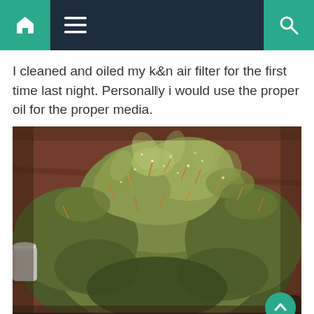Navigation bar with home, menu, and search icons
I cleaned and oiled my k&n air filter for the first time last night. Personally i would use the proper oil for the proper media.
[Figure (photo): Close-up photograph of a large cannabis bud/flower on a wooden surface, light green with orange pistils]